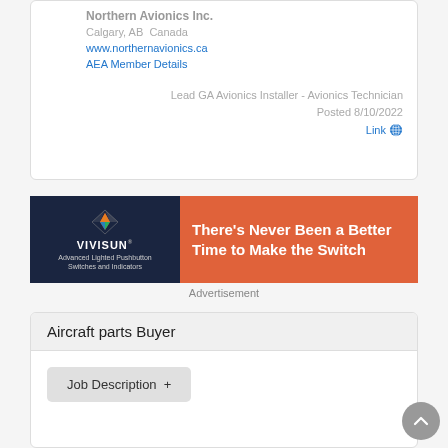Northern Avionics Inc.
Calgary, AB  Canada
www.northernavionics.ca
AEA Member Details
Lead GA Avionics Installer - Avionics Technician
Posted 8/10/2022
Link
[Figure (other): VIVISUN advertisement banner: dark navy left side with VIVISUN logo and tagline 'Advanced Lighted Pushbutton Switches and Indicators', orange right side with white bold text 'There's Never Been a Better Time to Make the Switch']
Advertisement
Aircraft parts Buyer
Job Description  +